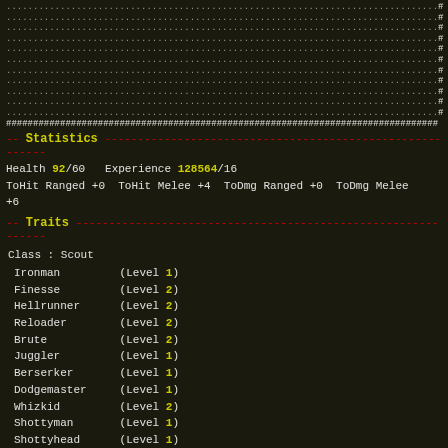ASCII border art with dots and # characters
Statistics
Health 92/60   Experience 128564/16
ToHit Ranged +0  ToHit Melee +4  ToDmg Ranged +0  ToDmg Melee +6
Traits
Class : Scout
Ironman         (Level 1)
Finesse         (Level 2)
Hellrunner      (Level 2)
Reloader        (Level 2)
Brute           (Level 2)
Juggler         (Level 1)
Berserker       (Level 1)
Dodgemaster     (Level 1)
Whizkid         (Level 2)
Shottyman       (Level 1)
Shottyhead      (Level 1)
Rel->Rel->Fin->HR->Jug->Fin->WK->WK->SM->MSh->Bru->Bru->Ber->Iro->HR->DM->
Equipment